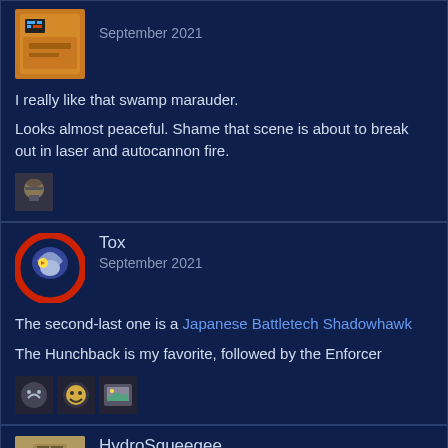[Figure (illustration): Forum avatar - orange/yellow pixel art icon]
September 2021
I really like that swamp marauder.
Looks almost peaceful. Shame that scene is about to break out in laser and autocannon fire.
[Figure (illustration): Small reaction emoji icon - character with hat]
[Figure (illustration): Forum avatar - circular red ring with bird/eagle logo, Tox]
Tox
September 2021
The second-last one is a Japanese Battletech Shadowhawk

The Hunchback is my favorite, followed by the Enforcer
[Figure (illustration): Three small reaction icons - thumbs up, smiley, image]
[Figure (illustration): Forum avatar - HydroSqueegee, tan/brown colored blocky icon]
HydroSqueegee
September 2021 edited September 2021